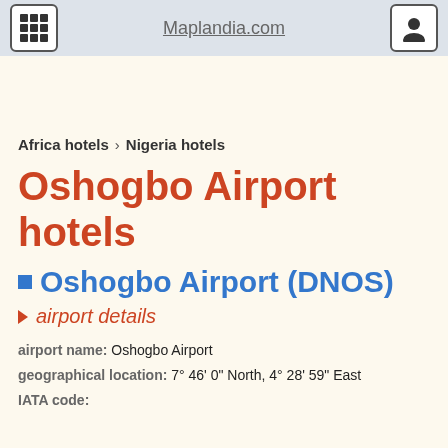Maplandia.com
Africa hotels > Nigeria hotels
Oshogbo Airport hotels
Oshogbo Airport (DNOS)
airport details
airport name: Oshogbo Airport
geographical location: 7° 46' 0" North, 4° 28' 59" East
IATA code: